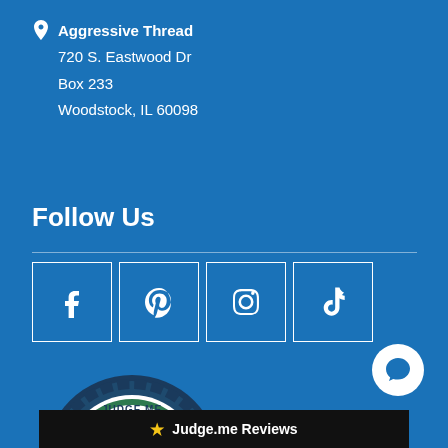Aggressive Thread
720 S. Eastwood Dr
Box 233
Woodstock, IL 60098
Follow Us
[Figure (infographic): Social media icon buttons for Facebook, Pinterest, Instagram, and TikTok in white-bordered square boxes on blue background]
[Figure (infographic): Judge.me badge showing 2254 Verified Reviews with 5 stars, dark circular badge with gold banner and green wreath]
★ Judge.me Reviews